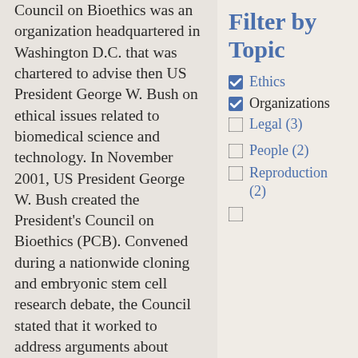Council on Bioethics was an organization headquartered in Washington D.C. that was chartered to advise then US President George W. Bush on ethical issues related to biomedical science and technology. In November 2001, US President George W. Bush created the President's Council on Bioethics (PCB). Convened during a nationwide cloning and embryonic stem cell research debate, the Council stated that it worked to address arguments about ethics from many different perspectives.
Filter by Topic
Ethics (checked)
Organizations (checked)
Legal (3)
People (2)
Reproduction (2)